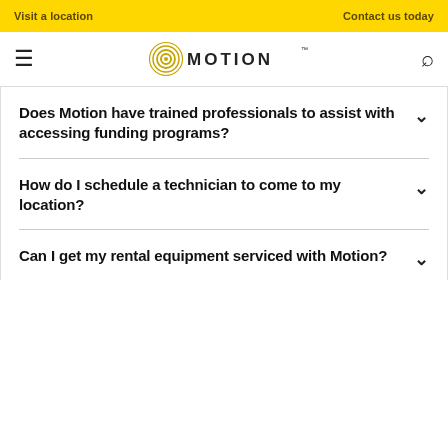Visit a location | Contact us today
[Figure (logo): Motion logo with concentric circle icon and MOTION text]
Does Motion have trained professionals to assist with accessing funding programs?
How do I schedule a technician to come to my location?
Can I get my rental equipment serviced with Motion?